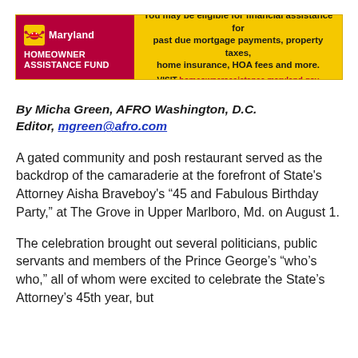[Figure (infographic): Maryland Homeowner Assistance Fund advertisement banner. Red left panel with Maryland crab logo, 'Maryland' text, and 'HOMEOWNER ASSISTANCE FUND' text. Yellow right panel with text: 'You may be eligible for financial assistance for past due mortgage payments, property taxes, home insurance, HOA fees and more. VISIT homeownerassistance.maryland.gov']
By Micha Green, AFRO Washington, D.C. Editor, mgreen@afro.com
A gated community and posh restaurant served as the backdrop of the camaraderie at the forefront of State’s Attorney Aisha Braveboy’s “45 and Fabulous Birthday Party,” at The Grove in Upper Marlboro, Md. on August 1.
The celebration brought out several politicians, public servants and members of the Prince George’s “who’s who,” all of whom were excited to celebrate the State’s Attorney’s 45th year, but